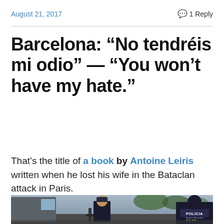August 21, 2017    💬 1 Reply
Barcelona: “No tendréis mi odio” — “You won’t have my hate.”
That’s the title of a book by Antoine Leiris written when he lost his wife in the Bataclan attack in Paris.
[Figure (photo): Two police officers in dark uniforms on a Barcelona street. One faces the camera holding a weapon, the other faces away with POLICIA visible on their back. A van is on the left, tree-lined street in background.]